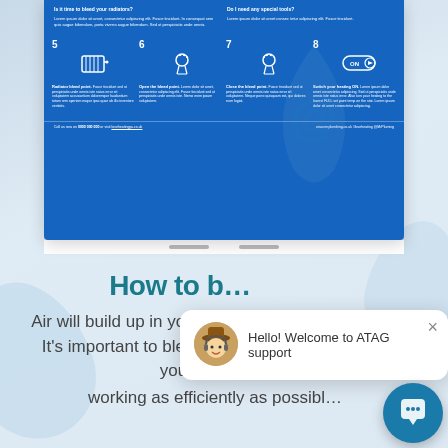[Figure (screenshot): Screenshot of a blue infographic showing steps 5-8 of how to bleed a radiator, with icons and step descriptions on a blue background. Steps include: Radiator bleed point, Open the bleed point, Close the bleed point, Switch your heating ON.]
How to b...
Air will build up in your heating system over time. It's important to bleed your radiators to ensure your heating is working as efficiently as possible.
[Figure (screenshot): Chat support popup overlay: avatar of cartoon character, close button (×), message 'Hello! Welcome to ATAG support', and blue circular chat button at bottom right.]